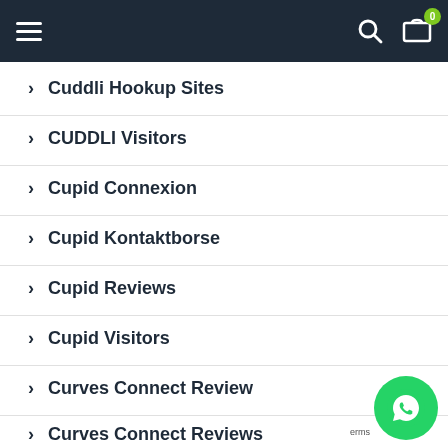Navigation header with hamburger menu, search icon, and cart icon with badge 0
Cuddli Hookup Sites
CUDDLI Visitors
Cupid Connexion
Cupid Kontaktborse
Cupid Reviews
Cupid Visitors
Curves Connect Review
Curves Connect Reviews
[Figure (logo): WhatsApp floating button (green circle with phone handset icon)]